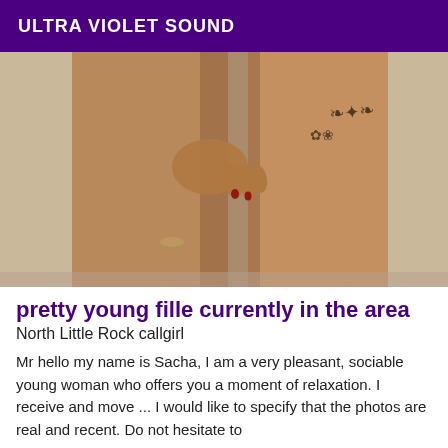ULTRA VIOLET SOUND
[Figure (photo): Close-up photo of a woman's legs with tattoos on upper thigh, against a light beige wall background.]
pretty young fille currently in the area
North Little Rock callgirl
Mr hello my name is Sacha, I am a very pleasant, sociable young woman who offers you a moment of relaxation. I receive and move ... I would like to specify that the photos are real and recent. Do not hesitate to